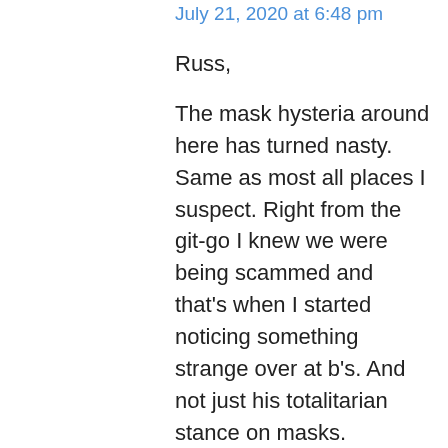Juannie on July 21, 2020 at 6:48 pm
Russ,
The mask hysteria around here has turned nasty. Same as most all places I suspect. Right from the git-go I knew we were being scammed and that's when I started noticing something strange over at b's. And not just his totalitarian stance on masks.
I have been reading b's writings literally daily ever since the Whiskey Bar days in the early nineties. Whiskey Bar readers moved to the Moon when b opened it. He personally invited me over to scope out his site after Billmon closed the Bar. My point is that I am quite familiar with b's writings. Around the time of the